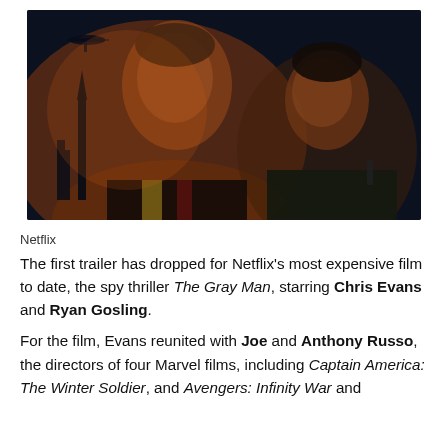[Figure (photo): Movie promotional image showing two male actors back-to-back against a dark dramatic background with a helicopter and cityscape silhouette. Orange/red dramatic lighting. The man on the left has lighter hair and is in the foreground; the man on the right is slightly behind and to the right holding a gun.]
Netflix
The first trailer has dropped for Netflix's most expensive film to date, the spy thriller The Gray Man, starring Chris Evans and Ryan Gosling.
For the film, Evans reunited with Joe and Anthony Russo, the directors of four Marvel films, including Captain America: The Winter Soldier, and Avengers: Infinity War and